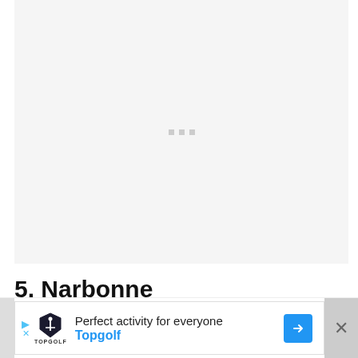[Figure (photo): Large image placeholder area with light gray background and three small gray loading dots in the center, indicating an image that has not yet loaded.]
5. Narbonne
[Figure (other): Advertisement banner for Topgolf. Shows the Topgolf logo (shield with golf tee icon), text 'Perfect activity for everyone' and 'Topgolf' in blue, a blue navigation arrow icon on the right, and an X close button on the far right. Left and right edges show partial background image strips.]